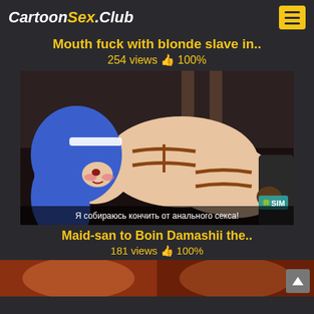CartoonSex.Club
Mouth fuck with blonde slave in..
254 views 👍 100%
[Figure (illustration): Anime/hentai illustration of a blue-haired maid character in bondage with Russian subtitle text: Я собираюсь кончить от анального секса!]
Maid-san to Boin Damashii the..
181 views 👍 100%